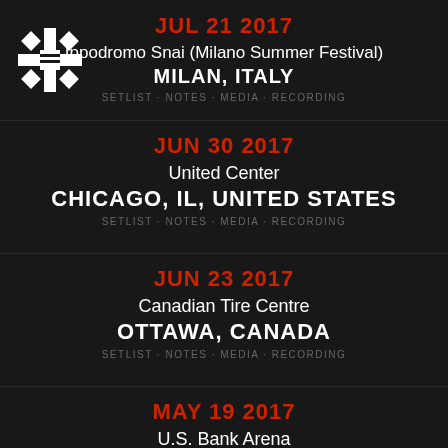JUL 21 2017
Ippodromo Snai (Milano Summer Festival)
MILAN, ITALY
SETLIST · NOTES · MEDIA · RECORDING
JUN 30 2017
United Center
CHICAGO, IL, UNITED STATES
SETLIST · NOTES · MEDIA · RECORDING
JUN 23 2017
Canadian Tire Centre
OTTAWA, CANADA
SETLIST · NOTES · MEDIA · RECORDING
MAY 19 2017
U.S. Bank Arena